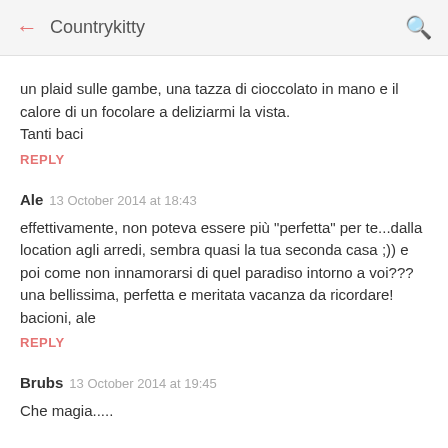Countrykitty
un plaid sulle gambe, una tazza di cioccolato in mano e il calore di un focolare a deliziarmi la vista.
Tanti baci
REPLY
Ale  13 October 2014 at 18:43
effettivamente, non poteva essere più "perfetta" per te...dalla location agli arredi, sembra quasi la tua seconda casa ;)) e poi come non innamorarsi di quel paradiso intorno a voi??? una bellissima, perfetta e meritata vacanza da ricordare! bacioni, ale
REPLY
Brubs  13 October 2014 at 19:45
Che magia.....